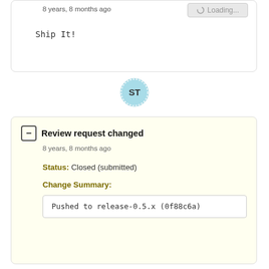8 years, 8 months ago
Loading...
Ship It!
[Figure (other): Avatar circle with initials ST in light blue]
Review request changed
8 years, 8 months ago
Status: Closed (submitted)
Change Summary:
Pushed to release-0.5.x (0f88c6a)